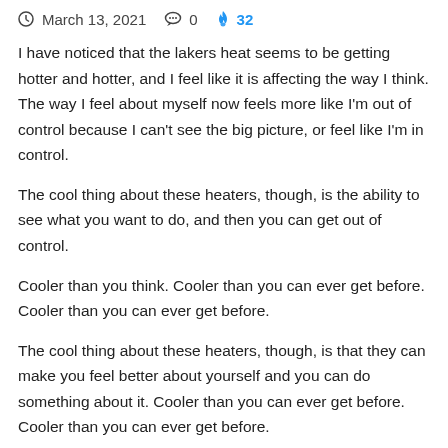March 13, 2021  0  32
I have noticed that the lakers heat seems to be getting hotter and hotter, and I feel like it is affecting the way I think. The way I feel about myself now feels more like I'm out of control because I can't see the big picture, or feel like I'm in control.
The cool thing about these heaters, though, is the ability to see what you want to do, and then you can get out of control.
Cooler than you think. Cooler than you can ever get before. Cooler than you can ever get before.
The cool thing about these heaters, though, is that they can make you feel better about yourself and you can do something about it. Cooler than you can ever get before. Cooler than you can ever get before.
The cool thing about those heaters, though, is that they can get